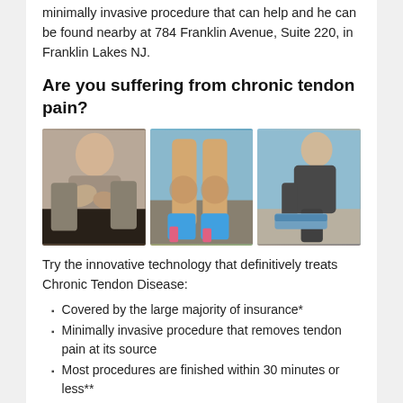minimally invasive procedure that can help and he can be found nearby at 784 Franklin Avenue, Suite 220, in Franklin Lakes NJ.
Are you suffering from chronic tendon pain?
[Figure (photo): Three photos side by side: a middle-aged woman holding her elbow in pain, a close-up of legs with hands on a knee, and an older man crouching down tying his shoe.]
Try the innovative technology that definitively treats Chronic Tendon Disease:
Covered by the large majority of insurance*
Minimally invasive procedure that removes tendon pain at its source
Most procedures are finished within 30 minutes or less**